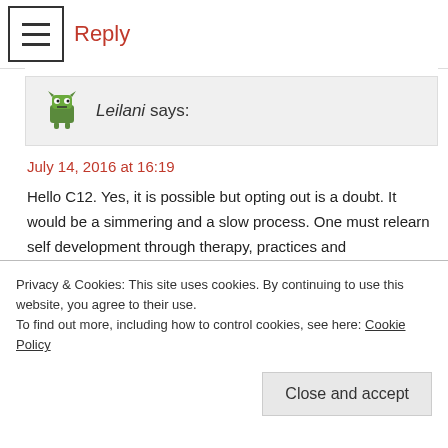Reply
[Figure (illustration): Green monster avatar icon for user Leilani]
Leilani says:
July 14, 2016 at 16:19
Hello C12. Yes, it is possible but opting out is a doubt. It would be a simmering and a slow process. One must relearn self development through therapy, practices and “Self”Awareness, detach from the past, events and future to live in the “present moment” with self validation to eradicate self made projections and illusions. Once introduced to other alternatives, a
Privacy & Cookies: This site uses cookies. By continuing to use this website, you agree to their use.
To find out more, including how to control cookies, see here: Cookie Policy
Close and accept